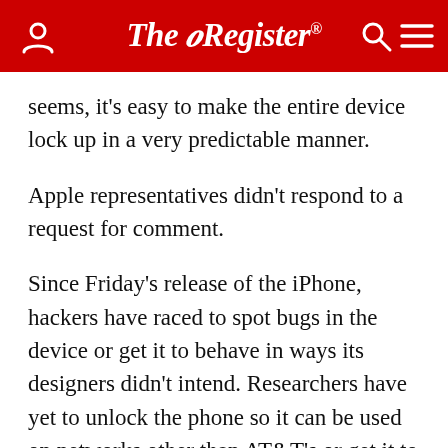The Register
seems, it's easy to make the entire device lock up in a very predictable manner.
Apple representatives didn't respond to a request for comment.
Since Friday's release of the iPhone, hackers have raced to spot bugs in the device or get it to behave in ways its designers didn't intend. Researchers have yet to unlock the phone so it can be used on networks other than AT&T's or get it to run Linux, but they say they're making progress.
They've also assembled a Wiki designed to foster the sharing of information relating to topics such as breaking the activation, unlocking the phone so it can